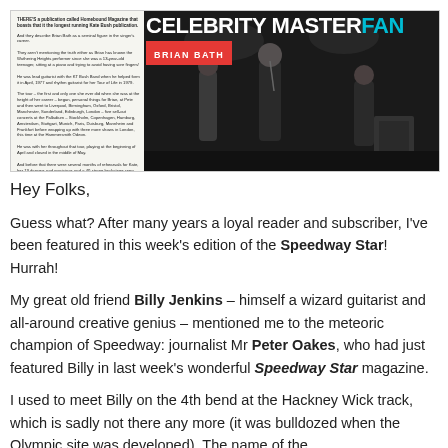[Figure (photo): Scanned magazine page showing Celebrity Master Fan article about Brian Bath, with a concert photo of performers on stage and text columns on the left side]
Hey Folks,
Guess what? After many years a loyal reader and subscriber, I've been featured in this week's edition of the Speedway Star! Hurrah!
My great old friend Billy Jenkins – himself a wizard guitarist and all-around creative genius – mentioned me to the meteoric champion of Speedway: journalist Mr Peter Oakes, who had just featured Billy in last week's wonderful Speedway Star magazine.
I used to meet Billy on the 4th bend at the Hackney Wick track, which is sadly not there any more (it was bulldozed when the Olympic site was developed). The name of the